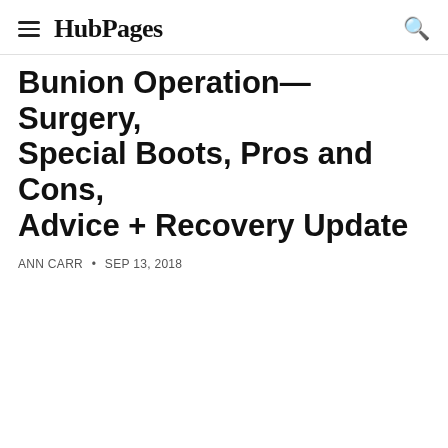HubPages
Bunion Operation—Surgery, Special Boots, Pros and Cons, Advice + Recovery Update
ANN CARR • SEP 13, 2018
[Figure (photo): Image area (blank/white placeholder for article photo)]
Ann likes to pass on information relating to her own